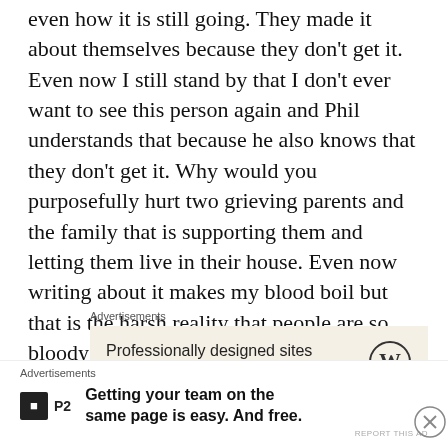even how it is still going. They made it about themselves because they don't get it. Even now I still stand by that I don't ever want to see this person again and Phil understands that because he also knows that they don't get it. Why would you purposefully hurt two grieving parents and the family that is supporting them and letting them live in their house. Even now writing about it makes my blood boil but that is the harsh reality that people are so bloody clueless and ignorant that they will never “understand” or “get it”.
[Figure (other): WordPress advertisement banner: 'Professionally designed sites in less than a week' with WordPress logo]
I wrote a blog post a good few months back that didn’t go
[Figure (other): P2 advertisement banner: 'Getting your team on the same page is easy. And free.' with P2 logo]